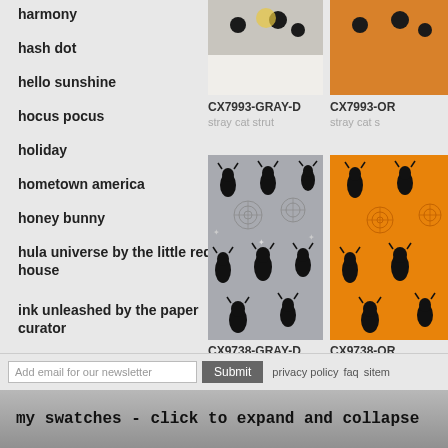harmony
hash dot
hello sunshine
hocus pocus
holiday
hometown america
honey bunny
hula universe by the little red house
ink unleashed by the paper curator
into the nature
in the garden
[Figure (photo): Fabric product image CX7993-GRAY-D, stray cat strut pattern on gray background]
CX7993-GRAY-D
stray cat strut
[Figure (photo): Fabric product image CX7993-OR, stray cat strut pattern on orange background (partially visible)]
CX7993-OR
stray cat s
[Figure (photo): Fabric product CX9738-GRAY-D cat charms pattern with black cats and spiderwebs on gray]
CX9738-GRAY-D
cat charms
[Figure (photo): Fabric product CX9738-OR cat charms pattern with black cats and spiderwebs on orange background (partially visible)]
CX9738-OR
cat charm
Add email for our newsletter  Submit  privacy policy  faq  sitem
my swatches - click to expand and collapse